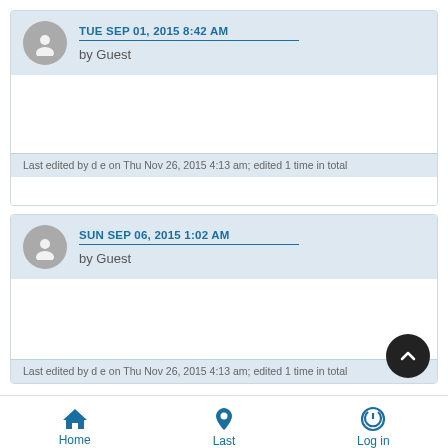TUE SEP 01, 2015 8:42 AM
by Guest
Last edited by d e on Thu Nov 26, 2015 4:13 am; edited 1 time in total
SUN SEP 06, 2015 1:02 AM
by Guest
Last edited by d e on Thu Nov 26, 2015 4:13 am; edited 1 time in total
Home  Last  Log in